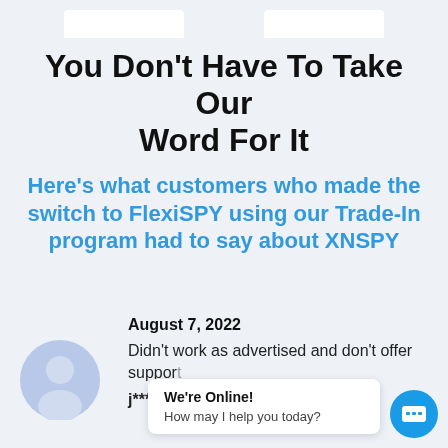You Don't Have To Take Our Word For It
Here's what customers who made the switch to FlexiSPY using our Trade-In program had to say about XNSPY
August 7, 2022
Didn't work as advertised and don't offer support
j*****o
We're Online! How may I help you today?